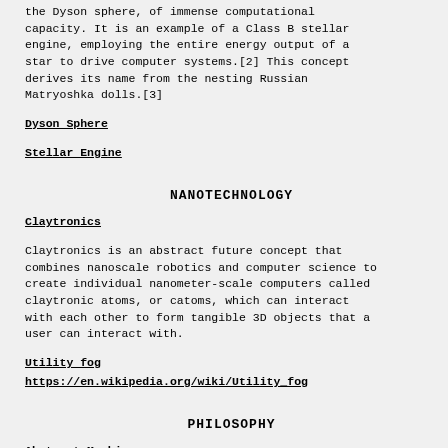the Dyson sphere, of immense computational capacity. It is an example of a Class B stellar engine, employing the entire energy output of a star to drive computer systems.[2] This concept derives its name from the nesting Russian Matryoshka dolls.[3]
Dyson Sphere
Stellar Engine
NANOTECHNOLOGY
Claytronics
Claytronics is an abstract future concept that combines nanoscale robotics and computer science to create individual nanometer-scale computers called claytronic atoms, or catoms, which can interact with each other to form tangible 3D objects that a user can interact with.
Utility fog
https://en.wikipedia.org/wiki/Utility_fog
PHILOSOPHY
Abstract Machine
For abstract definition of what this concept...